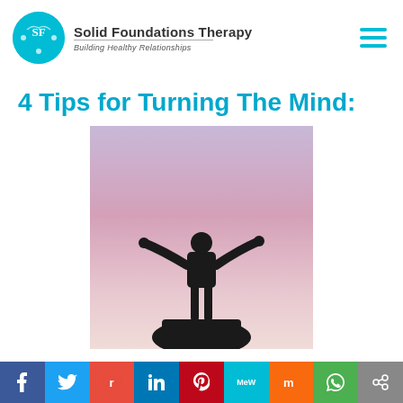Solid Foundations Therapy — Building Healthy Relationships
4 Tips for Turning The Mind:
[Figure (photo): Silhouette of a person standing on a rock with arms raised wide open against a purple and blue gradient sky background, conveying triumph and freedom.]
Social sharing bar: Facebook, Twitter, Reddit, LinkedIn, Pinterest, MeWe, Mix, WhatsApp, Share